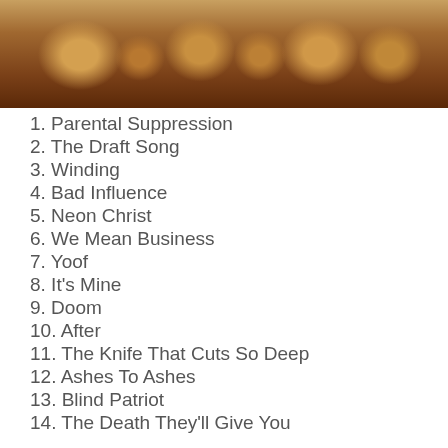[Figure (photo): Album cover artwork showing figures or objects in warm earthy tones, brown and orange hues]
1. Parental Suppression
2. The Draft Song
3. Winding
4. Bad Influence
5. Neon Christ
6. We Mean Business
7. Yoof
8. It's Mine
9. Doom
10. After
11. The Knife That Cuts So Deep
12. Ashes To Ashes
13. Blind Patriot
14. The Death They'll Give You